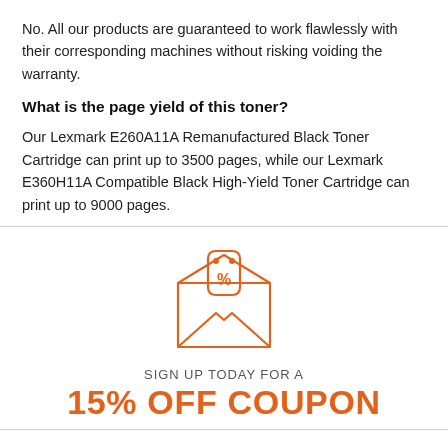No. All our products are guaranteed to work flawlessly with their corresponding machines without risking voiding the warranty.
What is the page yield of this toner?
Our Lexmark E260A11A Remanufactured Black Toner Cartridge can print up to 3500 pages, while our Lexmark E360H11A Compatible Black High-Yield Toner Cartridge can print up to 9000 pages.
[Figure (illustration): Orange outline illustration of an open envelope with a coupon/discount tag inside showing a percent sign]
SIGN UP TODAY FOR A
15% OFF COUPON
ON ORDERS OVER $29.